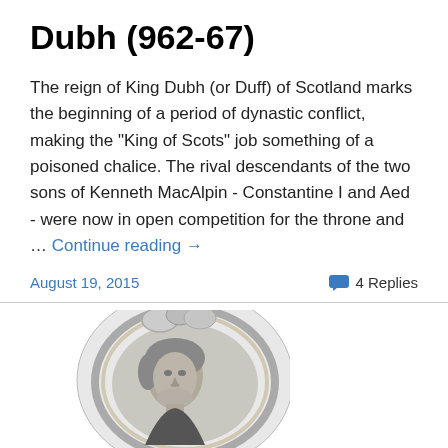Dubh (962-67)
The reign of King Dubh (or Duff) of Scotland marks the beginning of a period of dynastic conflict, making the "King of Scots" job something of a poisoned chalice. The rival descendants of the two sons of Kenneth MacAlpin - Constantine I and Aed - were now in open competition for the throne and … Continue reading →
August 19, 2015
4 Replies
[Figure (photo): Black and white engraved oval portrait of a historical figure, a man with curly hair, set within an ornate decorative frame.]